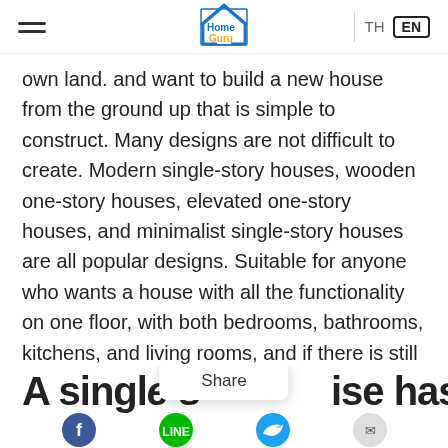HomeGuru — TH / EN language selector
own land. and want to build a new house from the ground up that is simple to construct. Many designs are not difficult to create. Modern single-story houses, wooden one-story houses, elevated one-story houses, and minimalist single-story houses are all popular designs. Suitable for anyone who wants a house with all the functionality on one floor, with both bedrooms, bathrooms, kitchens, and living rooms, and if there is still space left, they can still make other rooms to use.
Share
A single s… …ise has